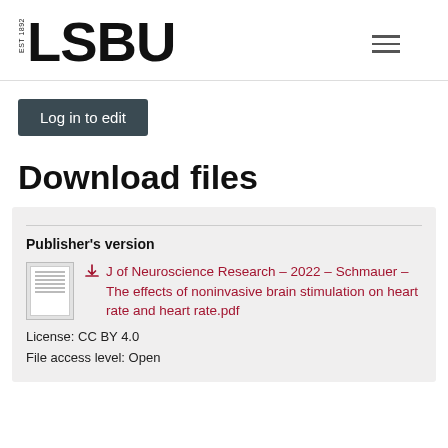[Figure (logo): LSBU logo with EST 1892 text in vertical orientation beside large bold LSBU lettering]
[Figure (other): Hamburger menu icon (three horizontal lines)]
Log in to edit
Download files
Publisher's version
J of Neuroscience Research – 2022 – Schmauer – The effects of noninvasive brain stimulation on heart rate and heart rate.pdf
License: CC BY 4.0
File access level: Open